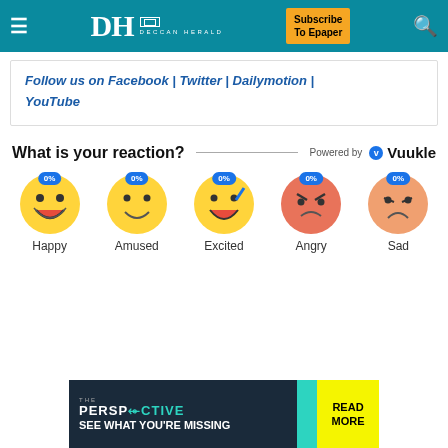Deccan Herald — Subscribe To Epaper
Follow us on Facebook | Twitter | Dailymotion | YouTube
What is your reaction?   Powered by Vuukle
[Figure (infographic): Five emoji reaction buttons each showing 0%: Happy, Amused, Excited, Angry, Sad]
[Figure (infographic): THE PERSPECTIVE advertisement banner — SEE WHAT YOU'RE MISSING / READ MORE]